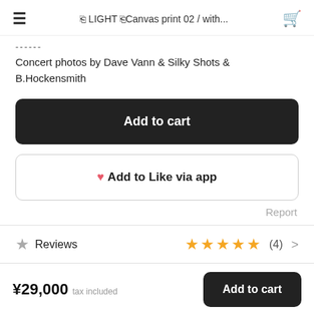≡  🖼 LIGHT 🖼Canvas print 02 / with…  🛒
------
Concert photos by Dave Vann & Silky Shots & B.Hockensmith
Add to cart
❤ Add to Like via app
Report
Reviews  ★★★★★ (4)  >
¥29,000  tax included  |  Add to cart